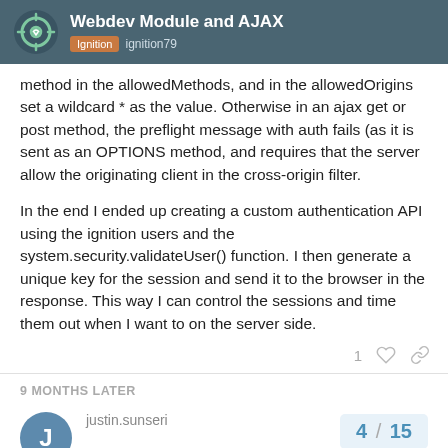Webdev Module and AJAX | Ignition ignition79
method in the allowedMethods, and in the allowedOrigins set a wildcard * as the value. Otherwise in an ajax get or post method, the preflight message with auth fails (as it is sent as an OPTIONS method, and requires that the server allow the originating client in the cross-origin filter.
In the end I ended up creating a custom authentication API using the ignition users and the system.security.validateUser() function. I then generate a unique key for the session and send it to the browser in the response. This way I can control the sessions and time them out when I want to on the server side.
9 MONTHS LATER
justin.sunseri
4 / 15